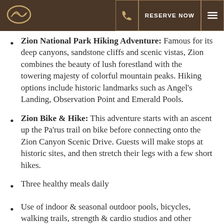RESERVE NOW [navigation bar with logo, phone, and menu]
Zion National Park Hiking Adventure: Famous for its deep canyons, sandstone cliffs and scenic vistas, Zion combines the beauty of lush forestland with the towering majesty of colorful mountain peaks. Hiking options include historic landmarks such as Angel's Landing, Observation Point and Emerald Pools.
Zion Bike & Hike: This adventure starts with an ascent up the Pa'rus trail on bike before connecting onto the Zion Canyon Scenic Drive. Guests will make stops at historic sites, and then stretch their legs with a few short hikes.
Three healthy meals daily
Use of indoor & seasonal outdoor pools, bicycles, walking trails, strength & cardio studios and other amenities
Only a short jaunt away and easily accessible from Las